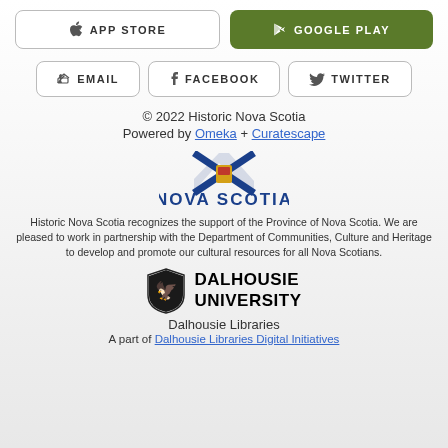[Figure (screenshot): App Store button (white, rounded border) and Google Play button (green background)]
[Figure (screenshot): Email, Facebook, and Twitter social sharing buttons with rounded borders]
© 2022 Historic Nova Scotia
Powered by Omeka + Curatescape
[Figure (logo): Nova Scotia provincial logo with flag icon and blue NOVA SCOTIA text]
Historic Nova Scotia recognizes the support of the Province of Nova Scotia. We are pleased to work in partnership with the Department of Communities, Culture and Heritage to develop and promote our cultural resources for all Nova Scotians.
[Figure (logo): Dalhousie University logo with shield crest and bold DALHOUSIE UNIVERSITY text]
Dalhousie Libraries
A part of Dalhousie Libraries Digital Initiatives